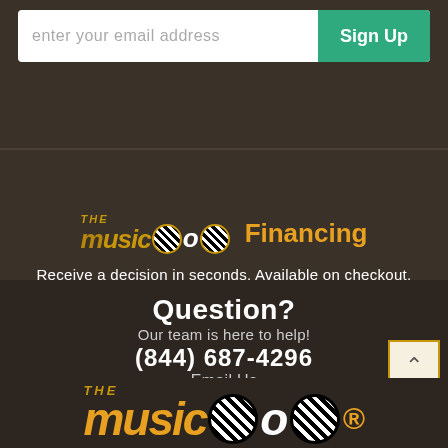enter your email address
Sign Up
[Figure (logo): The Music Zoo logo with zebra-striped circles and golden text, followed by 'Financing' in orange/gold bold text]
Receive a decision in seconds. Available on checkout.
See How Much You Can Spend
Question?
Our team is here to help!
(844) 687-4296
Email Us
[Figure (logo): The Music Zoo logo large version with orange italic text and zebra-striped circles]